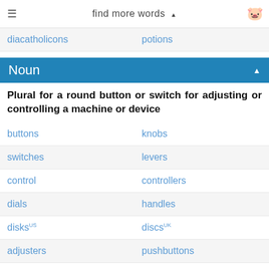find more words
diacatholicons   potions
Noun
Plural for a round button or switch for adjusting or controlling a machine or device
buttons   knobs
switches   levers
control   controllers
dials   handles
disks(US)   discs(UK)
adjusters   pushbuttons
tuners   push buttons
regulators   circuit breakers
joysticks   triggers